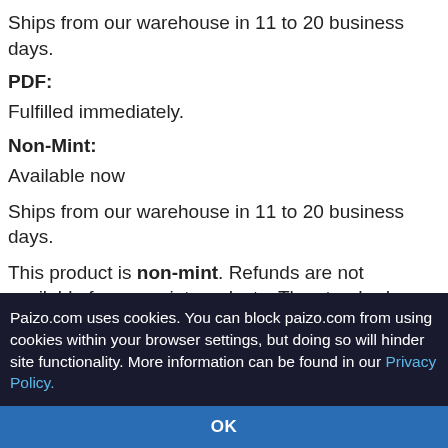Ships from our warehouse in 11 to 20 business days.
PDF:
Fulfilled immediately.
Non-Mint:
Available now
Ships from our warehouse in 11 to 20 business days.
This product is non-mint. Refunds are not available for non-mint products. The standard version of this product can be found here.
Are there errors or omissions in this product information? Got
Paizo.com uses cookies. You can block paizo.com from using cookies within your browser settings, but doing so will hinder site functionality. More information can be found in our Privacy Policy.
OK